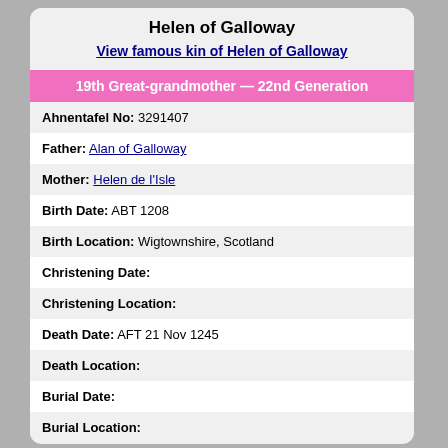Helen of Galloway
View famous kin of Helen of Galloway
19th Great-grandmother — 22nd Generation
Ahnentafel No: 3291407
Father: Alan of Galloway
Mother: Helen de I'Isle
Birth Date: ABT 1208
Birth Location: Wigtownshire, Scotland
Christening Date:
Christening Location:
Death Date: AFT 21 Nov 1245
Death Location:
Burial Date:
Burial Location: